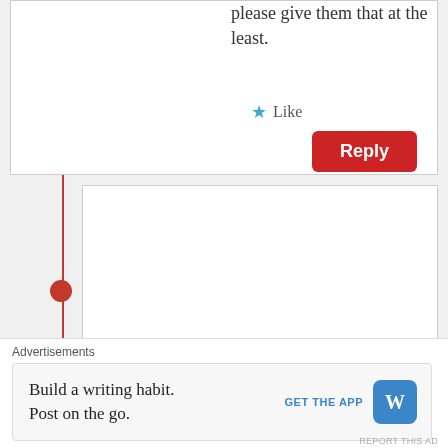please give them that at the least.
Like
Reply
Woken
May 2, 2015 at 10:52 pm
There are good Nuer leaders I can support but not criminal merciless and power hungry individuals like Riek, Gardet, Taban and their likes.
Advertisements
Build a writing habit. Post on the go.
GET THE APP